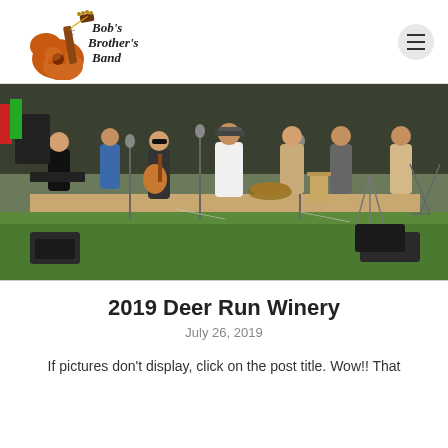Bob's Brother's Band
[Figure (photo): Band performing outdoors on a stage at Deer Run Winery, multiple musicians with guitars and microphones, green lawn in foreground]
2019 Deer Run Winery
July 26, 2019
If pictures don't display, click on the post title. Wow!! That